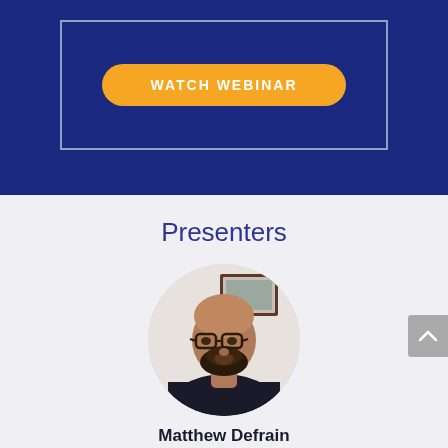[Figure (other): Dark blue banner section with a white-bordered rectangle containing an orange rounded-rectangle button labeled WATCH WEBINAR]
Presenters
[Figure (photo): Circular headshot photo of Matthew Defrain, a man with glasses and a beard wearing a dark shirt, seated in an office with a framed picture on the wall behind him]
Matthew Defrain